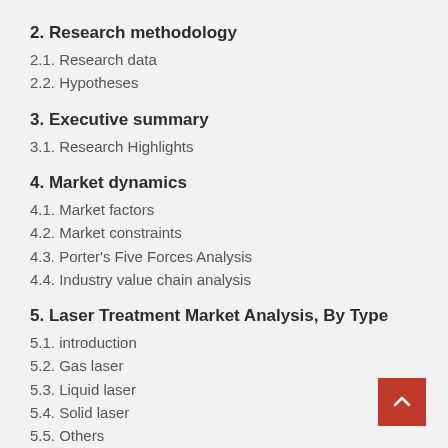2. Research methodology
2.1. Research data
2.2. Hypotheses
3. Executive summary
3.1. Research Highlights
4. Market dynamics
4.1. Market factors
4.2. Market constraints
4.3. Porter's Five Forces Analysis
4.4. Industry value chain analysis
5. Laser Treatment Market Analysis, By Type
5.1. introduction
5.2. Gas laser
5.3. Liquid laser
5.4. Solid laser
5.5. Others